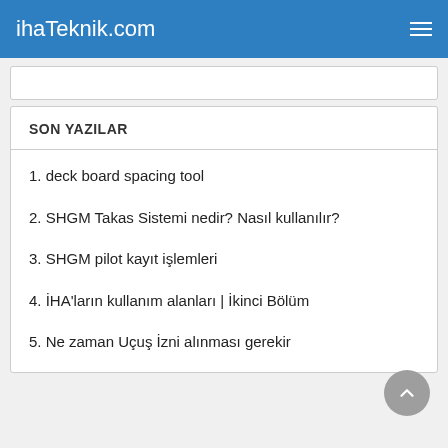ihaTeknik.com
SON YAZILAR
1. deck board spacing tool
2. SHGM Takas Sistemi nedir? Nasıl kullanılır?
3. SHGM pilot kayıt işlemleri
4. İHA'ların kullanım alanları | İkinci Bölüm
5. Ne zaman Uçuş İzni alınması gerekir